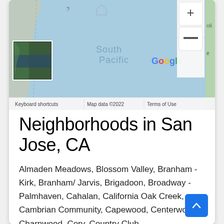[Figure (map): Google Maps screenshot showing South Pacific ocean area with zoom controls (+ and -), a small satellite thumbnail inset in the lower left, and the Google logo. Bottom bar shows 'Keyboard shortcuts | Map data ©2022 | Terms of Use'.]
Neighborhoods in San Jose, CA
Almaden Meadows, Blossom Valley, Branham - Kirk, Branham/ Jarvis, Brigadoon, Broadway - Palmhaven, Cahalan, California Oak Creek, Cambrian Community, Capewood, Centerwood, Charnwood, Cory, Country Club